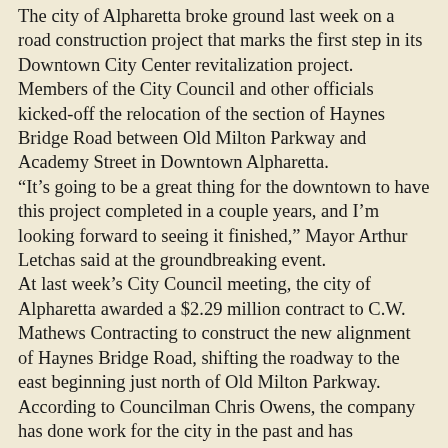The city of Alpharetta broke ground last week on a road construction project that marks the first step in its Downtown City Center revitalization project. Members of the City Council and other officials kicked-off the relocation of the section of Haynes Bridge Road between Old Milton Parkway and Academy Street in Downtown Alpharetta. “It’s going to be a great thing for the downtown to have this project completed in a couple years, and I’m looking forward to seeing it finished,” Mayor Arthur Letchas said at the groundbreaking event. At last week’s City Council meeting, the city of Alpharetta awarded a $2.29 million contract to C.W. Mathews Contracting to construct the new alignment of Haynes Bridge Road, shifting the roadway to the east beginning just north of Old Milton Parkway. According to Councilman Chris Owens, the company has done work for the city in the past and has completed projects early and on budget. The project also includes the addition of a traffic circle near the intersection of Thompson Street and the addition of parallel parking along the northern section of the roadway. To meet your needs, it is intended to be an easy to use...